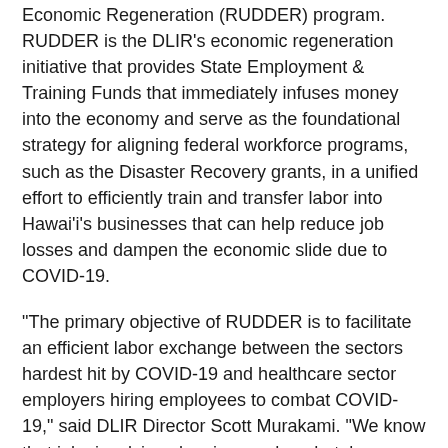Economic Regeneration (RUDDER) program. RUDDER is the DLIR's economic regeneration initiative that provides State Employment & Training Funds that immediately infuses money into the economy and serve as the foundational strategy for aligning federal workforce programs, such as the Disaster Recovery grants, in a unified effort to efficiently train and transfer labor into Hawai'i's businesses that can help reduce job losses and dampen the economic slide due to COVID-19.
“The primary objective of RUDDER is to facilitate an efficient labor exchange between the sectors hardest hit by COVID-19 and healthcare sector employers hiring employees to combat COVID-19,” said DLIR Director Scott Murakami. “We know that jobs involving cleaning, such as hotel housekeepers, could move into jobs in the healthcare with minimal training and the RUDDER program will facilitate that exchange.”
The program provides up to $100,000 of relief to registered and compliant Hawaiʻi businesses for new employees hired after March 1, 2020. The program provides an initial $500 payment for each new employee to offset training and associated costs upon notification to the department of the initial hiring of the